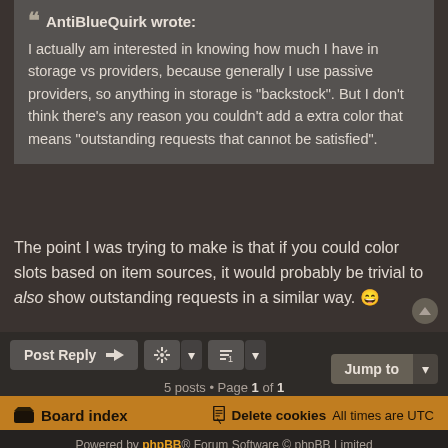AntiBlueQuirk wrote: I actually am interested in knowing how much I have in storage vs providers, because generally I use passive providers, so anything in storage is "backstock". But I don't think there's any reason you couldn't add a extra color that means "outstanding requests that cannot be satisfied".
The point I was trying to make is that if you could color slots based on item sources, it would probably be trivial to also show outstanding requests in a similar way. 😀
Post Reply | tools | sort | 5 posts • Page 1 of 1 | Jump to
Board index | Delete cookies | All times are UTC
Powered by phpBB® Forum Software © phpBB Limited | Privacy | Terms